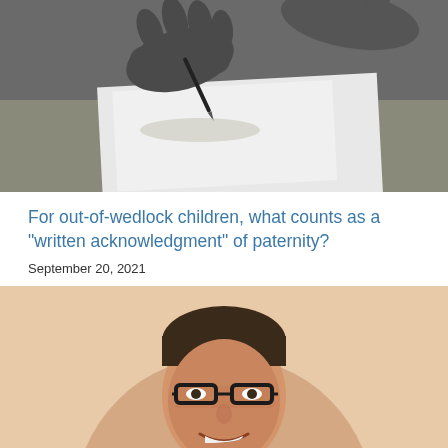[Figure (photo): Black and white photo of hands signing a document with a pen on a white sheet of paper on a desk]
For out-of-wedlock children, what counts as a "written acknowledgment" of paternity?
September 20, 2021
[Figure (photo): Portrait photo of a smiling man with dark hair and black-framed glasses, shown from chest up, against a beige/tan background with a large circular shape behind him]